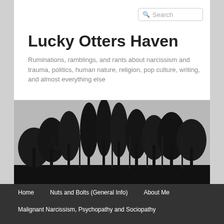Search
Lucky Otters Haven
Ruminations, ramblings, and rants about narcissism and trauma, politics, human nature, religion, pop culture, writing, and almost everything else
[Figure (photo): Black and white photograph of a forest silhouette against a light gray sky, showing tall trees with bare and leafy branches]
Home
Nuts and Bolts (General Info)
About Me
Malignant Narcissism, Psychopathy and Sociopathy